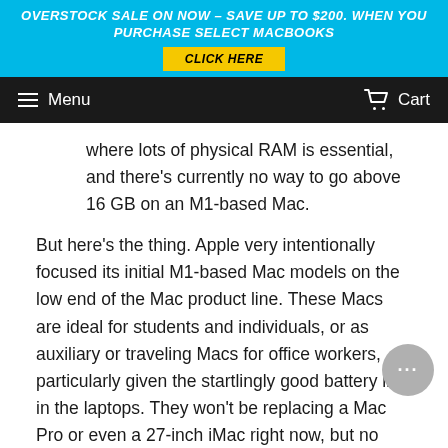OVERSTOCK SALE ON NOW – SAVE UP TO $200. WHEN YOU PURCHASE SELECT MACBOOKS CLICK HERE
Menu  Cart
where lots of physical RAM is essential, and there's currently no way to go above 16 GB on an M1-based Mac.
But here's the thing. Apple very intentionally focused its initial M1-based Mac models on the low end of the Mac product line. These Macs are ideal for students and individuals, or as auxiliary or traveling Macs for office workers, particularly given the startlingly good battery life in the laptops. They won't be replacing a Mac Pro or even a 27-inch iMac right now, but no one would have replaced such a machine with a MacBook Air, 13-inch MacBook Pro, or Mac mini before either.
In the end, we're bullish on these new M1-based Macs…